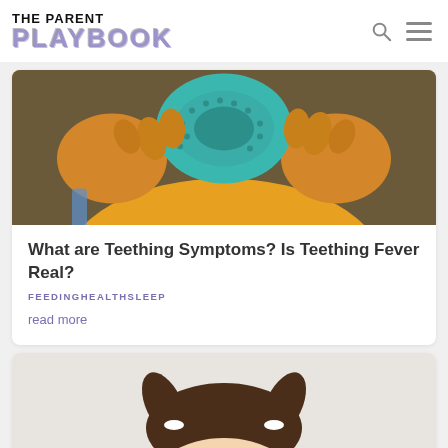THE PARENT PLAYBOOK
[Figure (photo): Baby in yellow shirt holding a teal teething ring up to face]
What are Teething Symptoms? Is Teething Fever Real?
FEEDINGHEALTHSLEEP
read more
[Figure (photo): Baby with two small pigtails, top of head visible from forehead up, white hair ties]